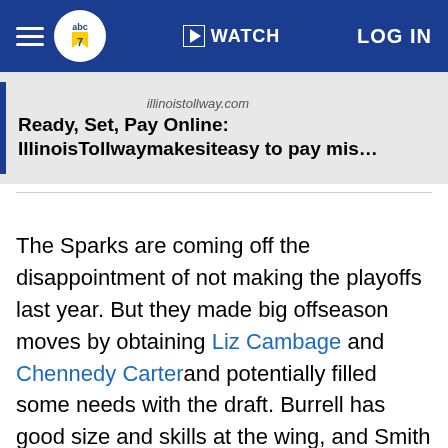abc7 | WATCH | LOG IN
[Figure (screenshot): Advertisement banner for IllinoisTollway.com showing 'Ready, Set, Pay Online: IllinoisTollwaymakesiteasy to pay mis…']
The Sparks are coming off the disappointment of not making the playoffs last year. But they made big offseason moves by obtaining Liz Cambage and Chennedy Carterand potentially filled some needs with the draft. Burrell has good size and skills at the wing, and Smith and Nelson-Ododa both have Final Four experience.
Atwell, theBig West Player of the Year, is worth giving a look in camp. They might not all make the